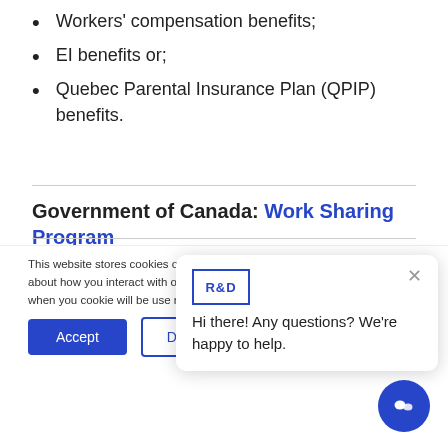Short-term disability benefits;
Workers' compensation benefits;
EI benefits or;
Quebec Parental Insurance Plan (QPIP) benefits.
Government of Canada: Work Sharing Program
This website stores cookies on your browser and are used to collect information about how you interact with our website. To find out more about the cookies we use, see our Privacy Policy. If you decline, your information won't be tracked when you visit this website. A single cookie will be used in your browser to remember your preference not to be tracked.
Hi there! Any questions? We're happy to help.